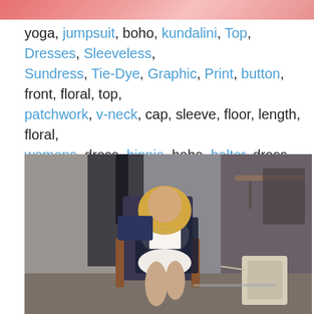[Figure (photo): Partial top image showing fashion/clothing in pink/red tones, cropped at top of page]
yoga, jumpsuit, boho, kundalini, Top, Dresses, Sleeveless, Sundress, Tie-Dye, Graphic, Print, button, front, floral, top, patchwork, v-neck, cap, sleeve, floor, length, floral, womens, dress, hippie, boho, halter, dress, maxi, looks, boho, Bazaar,
[Figure (photo): Young blonde woman sitting in a wooden chair in a cafe or restaurant setting, wearing a white crop top, white shorts, and a dark navy blazer. She has a handbag beside her. Background shows cafe furniture and dark walls.]